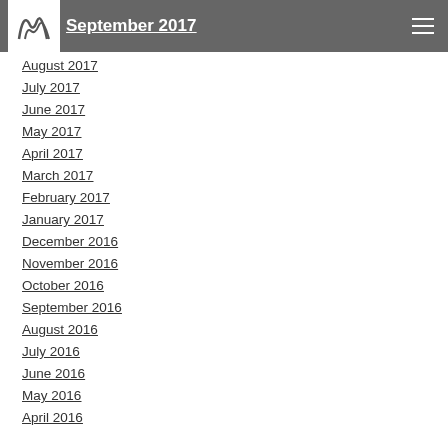ns [logo] September 2017 [hamburger menu]
August 2017
July 2017
June 2017
May 2017
April 2017
March 2017
February 2017
January 2017
December 2016
November 2016
October 2016
September 2016
August 2016
July 2016
June 2016
May 2016
April 2016